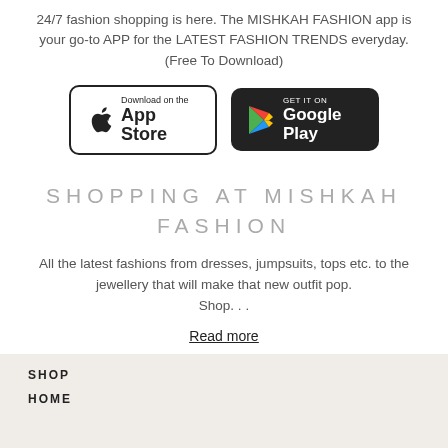24/7 fashion shopping is here. The MISHKAH FASHION app is your go-to APP for the LATEST FASHION TRENDS everyday. (Free To Download)
[Figure (other): App store download badges: Apple App Store and Google Play Store buttons side by side]
SHOPPING AT MISHKAH FASHION
All the latest fashions from dresses, jumpsuits, tops etc. to the jewellery that will make that new outfit pop.
Shop…
Read more
SHOP
HOME